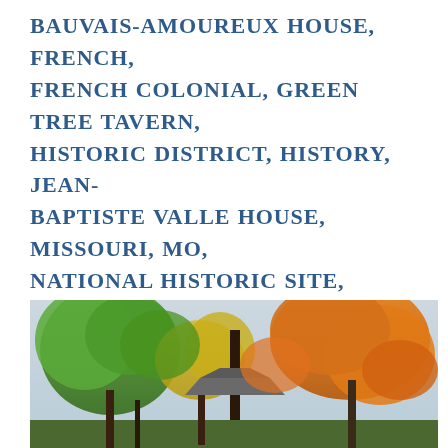BAUVAIS-AMOUREUX HOUSE, FRENCH, FRENCH COLONIAL, GREEN TREE TAVERN, HISTORIC DISTRICT, HISTORY, JEAN-BAPTISTE VALLE HOUSE, MISSOURI, MO, NATIONAL HISTORIC SITE, NATIONAL PARK, NPS, POTEAUX SURE SOLE, POTEAUX-EN-TERRE, STE. GENEVIEVE, STE. GENEVIEVE NATIONAL HISTORICAL PARK
[Figure (photo): Outdoor autumn scene showing trees with orange, yellow, and green foliage. A structure with a grey/dark roof is partially visible in the background beneath the tree canopy.]